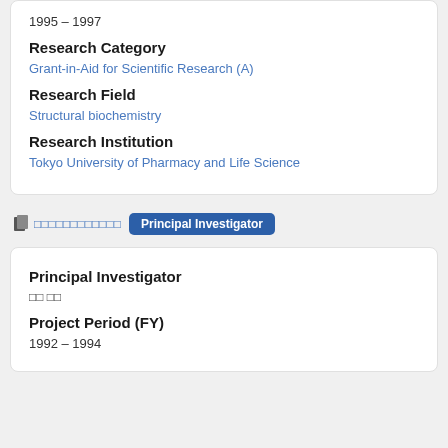1995 – 1997
Research Category
Grant-in-Aid for Scientific Research (A)
Research Field
Structural biochemistry
Research Institution
Tokyo University of Pharmacy and Life Science
□□□□□□□□□□□□
Principal Investigator
Principal Investigator
□□ □□
Project Period (FY)
1992 – 1994